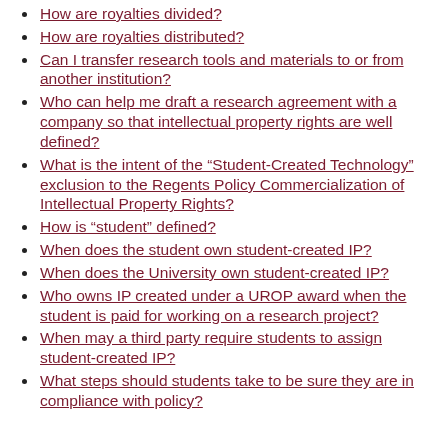How are royalties divided?
How are royalties distributed?
Can I transfer research tools and materials to or from another institution?
Who can help me draft a research agreement with a company so that intellectual property rights are well defined?
What is the intent of the “Student-Created Technology” exclusion to the Regents Policy Commercialization of Intellectual Property Rights?
How is “student” defined?
When does the student own student-created IP?
When does the University own student-created IP?
Who owns IP created under a UROP award when the student is paid for working on a research project?
When may a third party require students to assign student-created IP?
What steps should students take to be sure they are in compliance with policy?